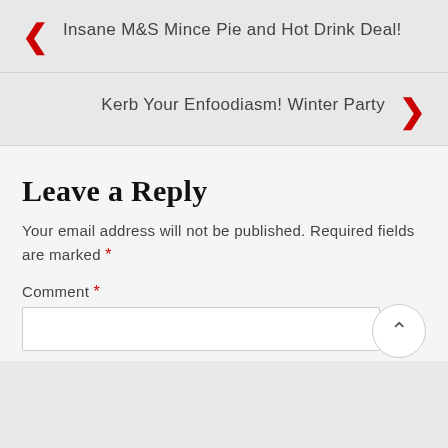Insane M&S Mince Pie and Hot Drink Deal!
Kerb Your Enfoodiasm! Winter Party
Leave a Reply
Your email address will not be published. Required fields are marked *
Comment *